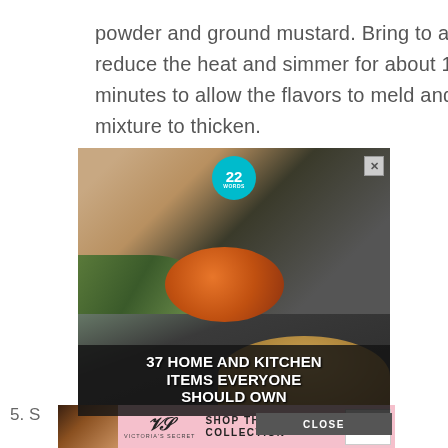powder and ground mustard. Bring to a boil, reduce the heat and simmer for about 10-15 minutes to allow the flavors to meld and the mixture to thicken.
[Figure (photo): Advertisement image showing a kitchen gadget (onion slicer/dicer) being used, with green herbs and orange onion visible. Text overlay reads '37 HOME AND KITCHEN ITEMS EVERYONE SHOULD OWN'. A '22 WORDS' badge appears at top. A close button (X) is in top-right corner. Below the main ad is a Victoria's Secret banner advertisement with text 'SHOP THE COLLECTION' and a 'SHOP NOW' button on pink background.]
5. S